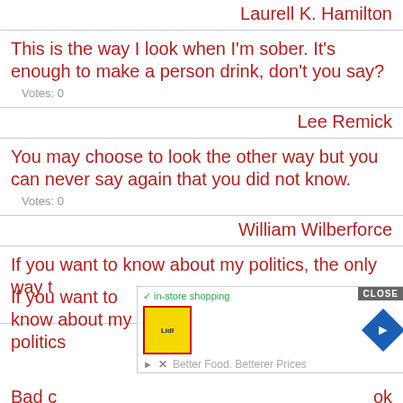Laurell K. Hamilton
This is the way I look when I'm sober. It's enough to make a person drink, don't you say?
Votes: 0
Lee Remick
You may choose to look the other way but you can never say again that you did not know.
Votes: 0
William Wilberforce
If you want to know about my politics, the only way t...
Votes: 0
Jones
Bad c...
[Figure (screenshot): Advertisement overlay with CLOSE button, Lidl logo, in-store shopping text, navigation arrow icon, play button, X button, and 'Better Food. Betterer Prices' tagline]